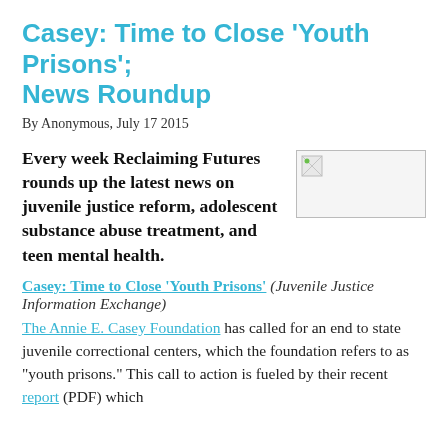Casey: Time to Close ‘Youth Prisons’; News Roundup
By Anonymous, July 17 2015
Every week Reclaiming Futures rounds up the latest news on juvenile justice reform, adolescent substance abuse treatment, and teen mental health.
[Figure (illustration): Small broken image placeholder icon in a bordered box]
Casey: Time to Close ‘Youth Prisons’ (Juvenile Justice Information Exchange)
The Annie E. Casey Foundation has called for an end to state juvenile correctional centers, which the foundation refers to as "youth prisons." This call to action is fueled by their recent report (PDF) which